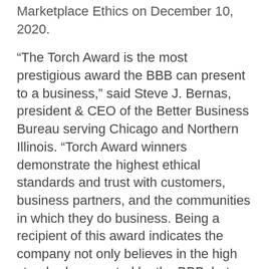Marketplace Ethics on December 10, 2020.
“The Torch Award is the most prestigious award the BBB can present to a business,” said Steve J. Bernas, president & CEO of the Better Business Bureau serving Chicago and Northern Illinois. “Torch Award winners demonstrate the highest ethical standards and trust with customers, business partners, and the communities in which they do business. Being a recipient of this award indicates the company not only believes in the high standards promoted by the BBB, but consistently demonstrates and integrates them into daily business practices.” This year marks the first year this award was granted to an organization in BBB’s new category for associations.
NABP’s core practices demonstrate its belief in high ethical standards, which is central to the BBB’s